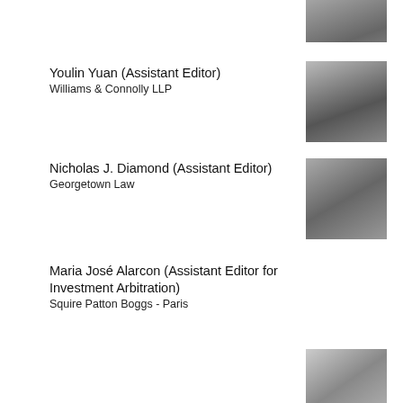[Figure (photo): Partial photo visible at top of page]
Youlin Yuan (Assistant Editor)
Williams & Connolly LLP
[Figure (photo): Headshot of Youlin Yuan]
Nicholas J. Diamond (Assistant Editor)
Georgetown Law
[Figure (photo): Headshot of Nicholas J. Diamond]
Maria José Alarcon (Assistant Editor for Investment Arbitration)
Squire Patton Boggs - Paris
[Figure (photo): Headshot of Maria José Alarcon]
Ylli Dautaj (Assistant Editor for Investment Arbitration)
Penn State Law
[Figure (photo): Headshot of Ylli Dautaj]
Sebastian King (Assistant Editor for Investment Arbitration)
The Australian National University
[Figure (photo): Headshot of Sebastian King]
[Figure (photo): Partial photo visible at bottom of page]